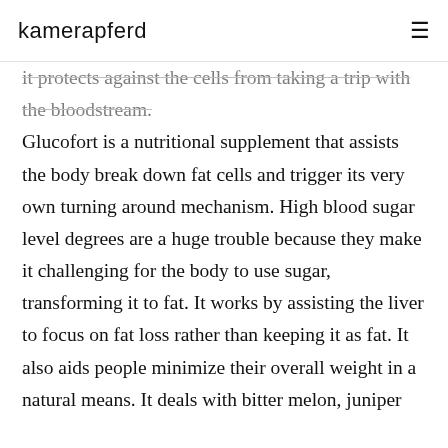kamerapferd
it protects against the cells from taking a trip with the bloodstream. Glucofort is a nutritional supplement that assists the body break down fat cells and trigger its very own turning around mechanism. High blood sugar level degrees are a huge trouble because they make it challenging for the body to use sugar, transforming it to fat. It works by assisting the liver to focus on fat loss rather than keeping it as fat. It also aids people minimize their overall weight in a natural means. It deals with bitter melon, juniper